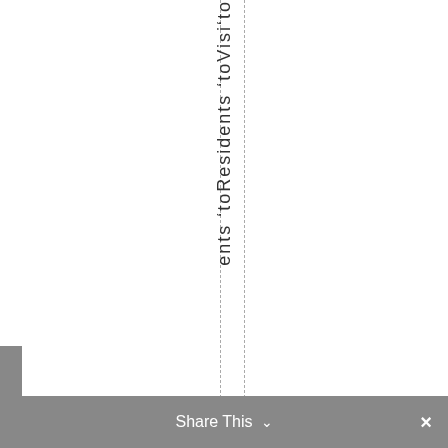ents 'toResidents 'toVisi'to
Share This ∨  ×